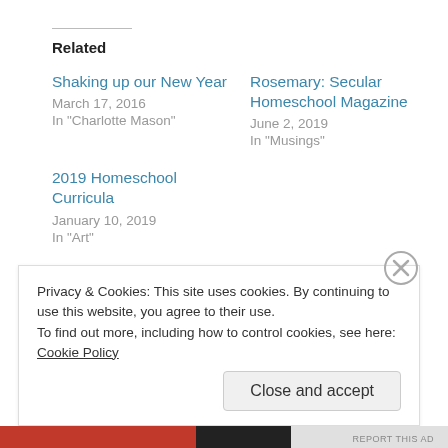Related
Shaking up our New Year
March 17, 2016
In "Charlotte Mason"
Rosemary: Secular Homeschool Magazine
June 2, 2019
In "Musings"
2019 Homeschool Curricula
January 10, 2019
In "Art"
Privacy & Cookies: This site uses cookies. By continuing to use this website, you agree to their use.
To find out more, including how to control cookies, see here: Cookie Policy
Close and accept